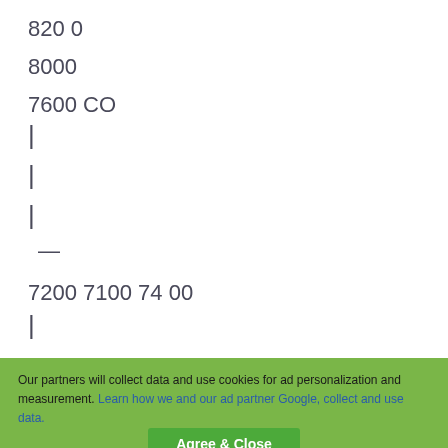820 0
8000
7600 CO
|
|
|
—
7200 7100 74 00
|
75 00 76 00
Our partners will collect data and use cookies for ad personalization and measurement. Learn how we and our ad partner Google, collect and use data. Agree & Close